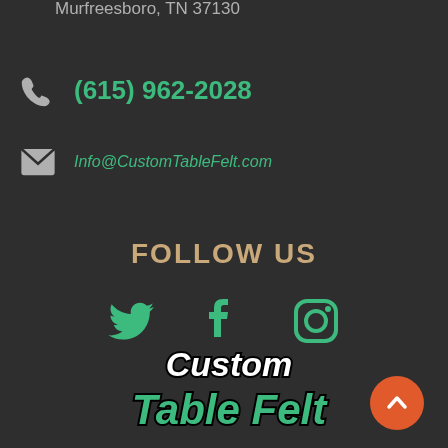Murfreesboro, TN 37130
(615) 962-2028
Info@CustomTableFelt.com
FOLLOW US
[Figure (infographic): Social media icons: Twitter bird, Facebook f, Instagram camera outline — all in teal/green color]
[Figure (logo): Custom Table Felt logo with white 'Custom' script text and teal 'Table Felt' script text on dark background]